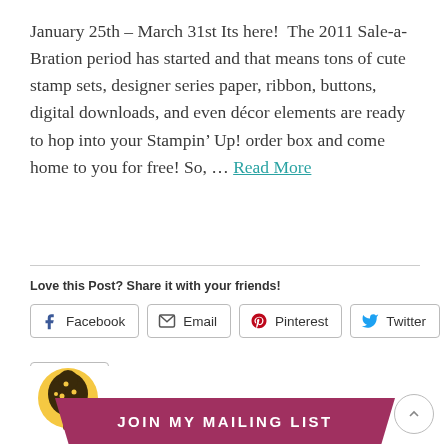January 25th – March 31st Its here!  The 2011 Sale-a-Bration period has started and that means tons of cute stamp sets, designer series paper, ribbon, buttons, digital downloads, and even décor elements are ready to hop into your Stampin' Up! order box and come home to you for free! So, … Read More
Love this Post? Share it with your friends!
[Figure (other): Social share buttons: Facebook, Email, Pinterest, Twitter, Print]
[Figure (illustration): Decorative tree logo with JOIN MY MAILING LIST banner ribbon at the bottom of the page]